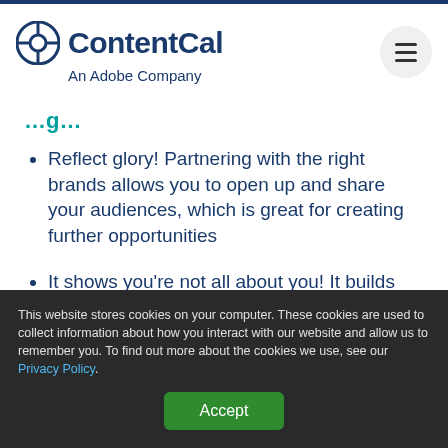ContentCal An Adobe Company
Reflect glory! Partnering with the right brands allows you to open up and share your audiences, which is great for creating further opportunities
It shows you're not all about you! It builds relationships and shows you're a brand that helps others
By tying all of this together, you can create a
This website stores cookies on your computer. These cookies are used to collect information about how you interact with our website and allow us to remember you. To find out more about the cookies we use, see our Privacy Policy.
Accept